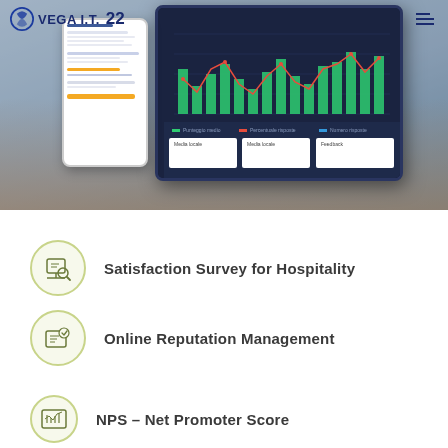[Figure (screenshot): Hero banner showing a person holding a smartphone, with a phone app mockup (survey form) and a tablet showing a dashboard with bar and line charts. VEGA I.T. logo and '22' visible in top navigation along with hamburger menu icon.]
Satisfaction Survey for Hospitality
Online Reputation Management
NPS – Net Promoter Score